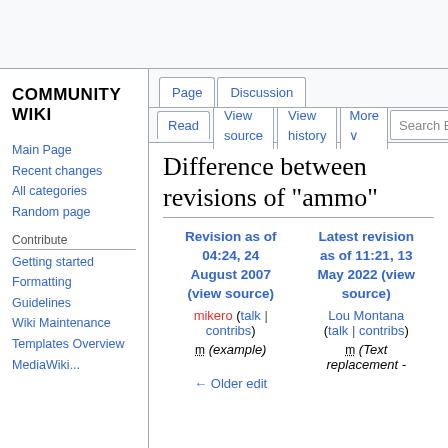Community Wiki - MediaWiki top bar
Difference between revisions of "ammo"
Contribute
| Revision as of 04:24, 24 August 2007 (view source) | Latest revision as of 11:21, 13 May 2022 (view source) |
| --- | --- |
| mikero (talk | contribs) | Lou Montana (talk | contribs) |
| m (example) | m (Text replacement - |
| ← Older edit |  |